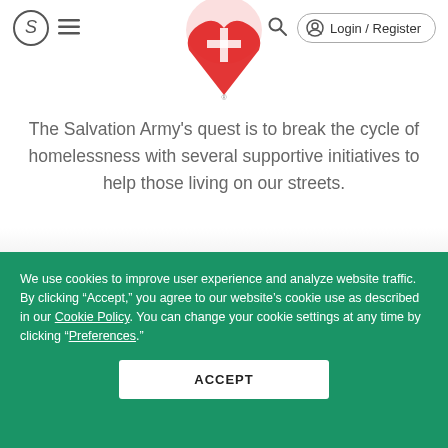Login / Register
[Figure (logo): Salvation Army red shield logo with heart and cross, partially visible at top center]
The Salvation Army's quest is to break the cycle of homelessness with several supportive initiatives to help those living on our streets.
We use cookies to improve user experience and analyze website traffic. By clicking “Accept,” you agree to our website’s cookie use as described in our Cookie Policy. You can change your cookie settings at any time by clicking “Preferences.”
ACCEPT